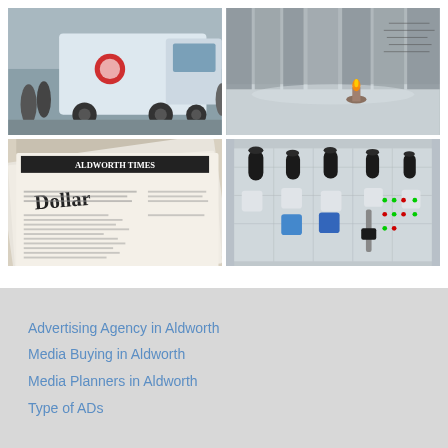[Figure (photo): White Mercedes truck/lorry with branding on a street with pedestrians]
[Figure (photo): Interior office/conference room scene with metallic reflective surface and a burning candle]
[Figure (photo): Close-up of newspaper pages with text including 'Dollar' headline]
[Figure (photo): Audio mixing board/console with black knobs, blue and white buttons]
Advertising Agency in Aldworth
Media Buying in Aldworth
Media Planners in Aldworth
Type of ADs